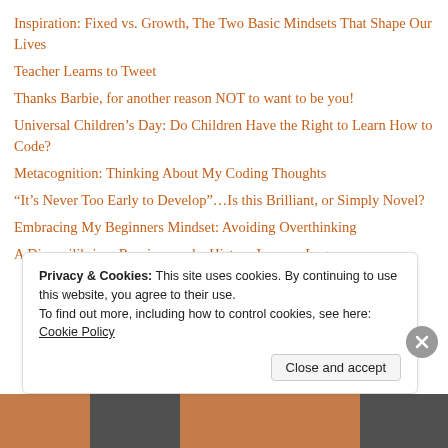Inspiration: Fixed vs. Growth, The Two Basic Mindsets That Shape Our Lives
Teacher Learns to Tweet
Thanks Barbie, for another reason NOT to want to be you!
Universal Children’s Day: Do Children Have the Right to Learn How to Code?
Metacognition: Thinking About My Coding Thoughts
“It’s Never Too Early to Develop”…Is this Brilliant, or Simply Novel?
Embracing My Beginners Mindset: Avoiding Overthinking
A Disequilibrium Reprieve and a History Lesson: Logo
Privacy & Cookies: This site uses cookies. By continuing to use this website, you agree to their use.
To find out more, including how to control cookies, see here: Cookie Policy
Close and accept